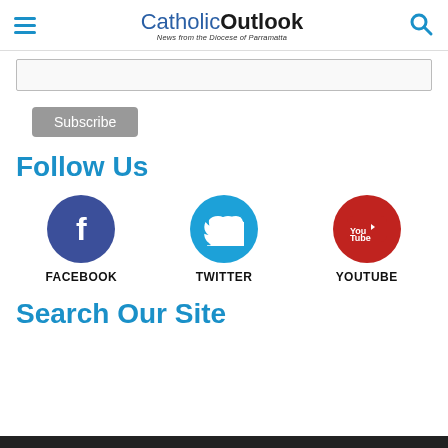CatholicOutlook — News from the Diocese of Parramatta
[Figure (screenshot): Email subscription input field (text box)]
Subscribe
Follow Us
[Figure (infographic): Social media icons: Facebook (blue circle with f), Twitter (cyan circle with bird), YouTube (red circle with play icon). Labels: FACEBOOK, TWITTER, YOUTUBE]
Search Our Site